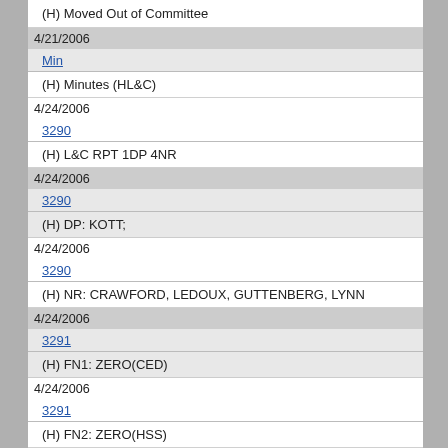(H) Moved Out of Committee
4/21/2006
Min
(H) Minutes (HL&C)
4/24/2006
3290
(H) L&C RPT 1DP 4NR
4/24/2006
3290
(H) DP: KOTT;
4/24/2006
3290
(H) NR: CRAWFORD, LEDOUX, GUTTENBERG, LYNN
4/24/2006
3291
(H) FN1: ZERO(CED)
4/24/2006
3291
(H) FN2: ZERO(HSS)
4/28/2006
3421